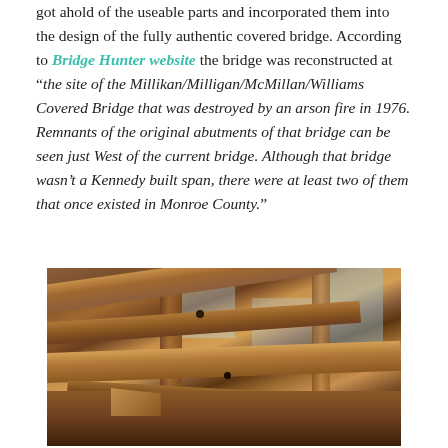got ahold of the useable parts and incorporated them into the design of the fully authentic covered bridge. According to Bridge Hunter website the bridge was reconstructed at " the site of the Millikan/Milligan/McMillan/Williams Covered Bridge that was destroyed by an arson fire in 1976. Remnants of the original abutments of that bridge can be seen just West of the current bridge. Although that bridge wasn’t a Kennedy built span, there were at least two of them that once existed in Monroe County."
[Figure (photo): Interior photo of a covered bridge showing wooden beams, trusses, and structural timber framing viewed from below/inside, with light visible through gaps in the structure.]